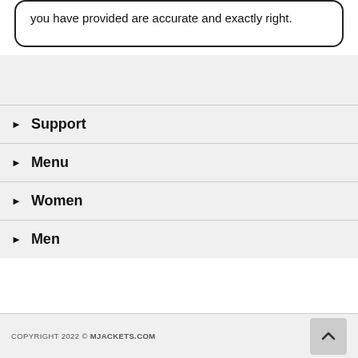you have provided are accurate and exactly right.
▶ Support
▶ Menu
▶ Women
▶ Men
COPYRIGHT 2022 © MJACKETS.COM